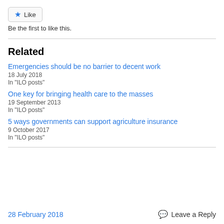Like
Be the first to like this.
Related
Emergencies should be no barrier to decent work
18 July 2018
In "ILO posts"
One key for bringing health care to the masses
19 September 2013
In "ILO posts"
5 ways governments can support agriculture insurance
9 October 2017
In "ILO posts"
28 February 2018    Leave a Reply